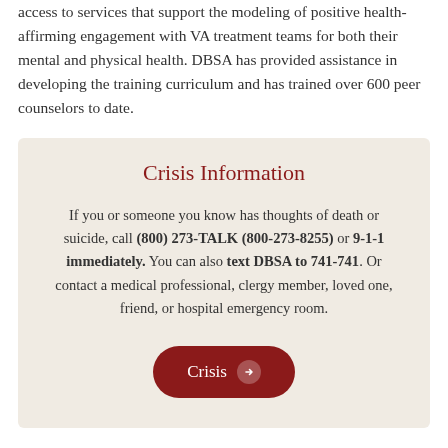access to services that support the modeling of positive health-affirming engagement with VA treatment teams for both their mental and physical health. DBSA has provided assistance in developing the training curriculum and has trained over 600 peer counselors to date.
Crisis Information
If you or someone you know has thoughts of death or suicide, call (800) 273-TALK (800-273-8255) or 9-1-1 immediately. You can also text DBSA to 741-741. Or contact a medical professional, clergy member, loved one, friend, or hospital emergency room.
Crisis →